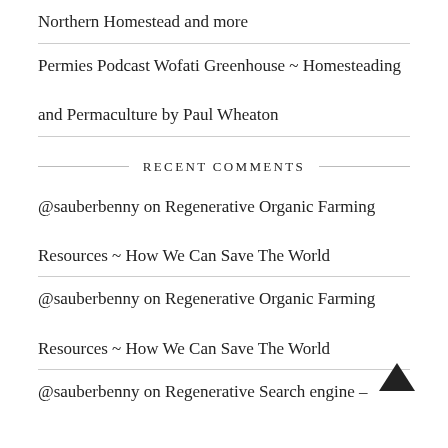Northern Homestead and more
Permies Podcast Wofati Greenhouse ~ Homesteading and Permaculture by Paul Wheaton
RECENT COMMENTS
@sauberbenny on Regenerative Organic Farming Resources ~ How We Can Save The World
@sauberbenny on Regenerative Organic Farming Resources ~ How We Can Save The World
@sauberbenny on Regenerative Search engine –